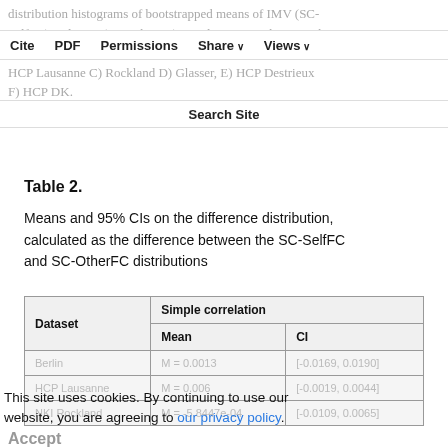distribution histograms of bootstrapped means of IMV (SC-SelfFC and IMV (SC-OtherFC) correlations are shown in the second column. Each row is a different dataset: A) Berlin B) HCP Lausanne C) Rockland D) Glasser, E) HCP Destrieux F) HCP DK.
Cite  PDF  Permissions  Share  Views  Search Site
Table 2.
Means and 95% CIs on the difference distribution, calculated as the difference between the SC-SelfFC and SC-OtherFC distributions
| Dataset | Simple correlation |  |
| --- | --- | --- |
|  | Mean | CI |
| Berlin | M = 0.0013 | [-0.0169, 0.0190] |
| HCP Lausanne | M = 0.006 | [-0.0019, 0.0044] |
| NKI Rockland | M = -5.8447e-04 | [-0.0109, 0.0065] |
This site uses cookies. By continuing to use our website, you are agreeing to our privacy policy.
Accept